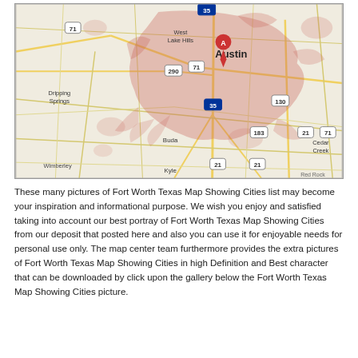[Figure (map): Google Maps screenshot showing Austin, Texas area with surrounding cities including West Lake Hills, Dripping Springs, Buda, Kyle, Cedar Creek, and Wimberley. Red marker 'A' placed on Austin. Roads shown including routes 71, 290, 35, 130, 183, 21. City area shown with pinkish-red shading indicating Austin urban extent.]
These many pictures of Fort Worth Texas Map Showing Cities list may become your inspiration and informational purpose. We wish you enjoy and satisfied taking into account our best portray of Fort Worth Texas Map Showing Cities from our deposit that posted here and also you can use it for enjoyable needs for personal use only. The map center team furthermore provides the extra pictures of Fort Worth Texas Map Showing Cities in high Definition and Best character that can be downloaded by click upon the gallery below the Fort Worth Texas Map Showing Cities picture.